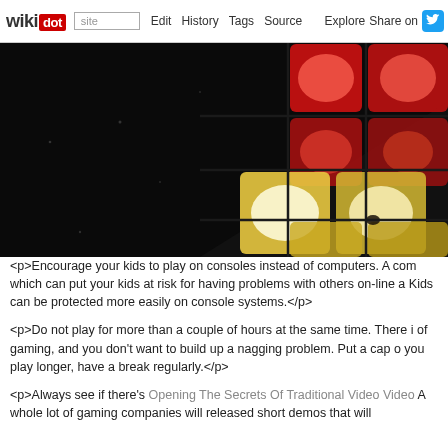wikidot — site Edit History Tags Source Explore Share on [Twitter]
[Figure (photo): Close-up photo of illuminated Rubik's cube tiles against a dark background, showing red and yellow/white glowing squares]
<p>Encourage your kids to play on consoles instead of computers. A com which can put your kids at risk for having problems with others on-line a Kids can be protected more easily on console systems.</p>
<p>Do not play for more than a couple of hours at the same time. There i of gaming, and you don't want to build up a nagging problem. Put a cap o you play longer, have a break regularly.</p>
<p>Always see if there's Opening The Secrets Of Traditional Video Video A whole lot of gaming companies will released short demos that will…</p>